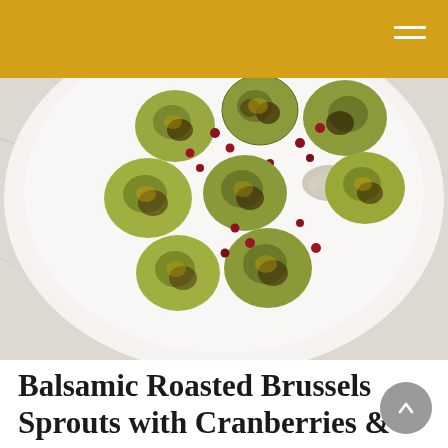[Figure (photo): Overhead shot of roasted Brussels sprouts with cranberries and pecans on a white marble plate with a spoon, shot from above on a marble surface.]
Balsamic Roasted Brussels Sprouts with Cranberries & Pecans